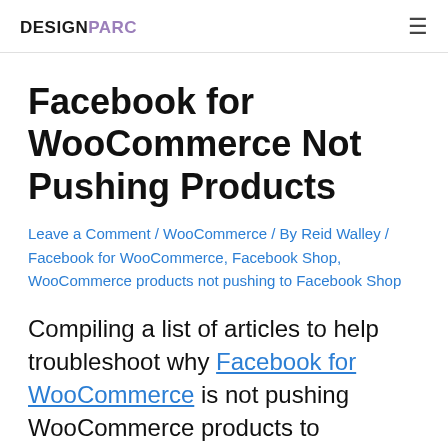DESIGNPARC
Facebook for WooCommerce Not Pushing Products
Leave a Comment / WooCommerce / By Reid Walley / Facebook for WooCommerce, Facebook Shop, WooCommerce products not pushing to Facebook Shop
Compiling a list of articles to help troubleshoot why Facebook for WooCommerce is not pushing WooCommerce products to Facebook Shop